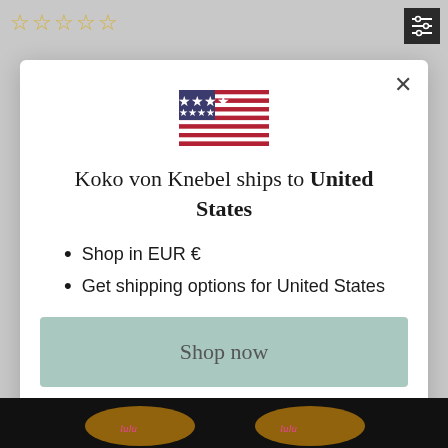[Figure (illustration): Five empty star rating icons in gold/yellow outline, top left corner of page]
[Figure (illustration): Filter/settings icon (three horizontal sliders) in a dark square, top right corner]
[Figure (illustration): United States flag emoji/icon centered in modal dialog]
Koko von Knebel ships to United States
Shop in EUR €
Get shipping options for United States
Shop now
Change shipping country
[Figure (photo): Product image partially visible at bottom of page, appears to be dark fabric with embroidered/printed design]